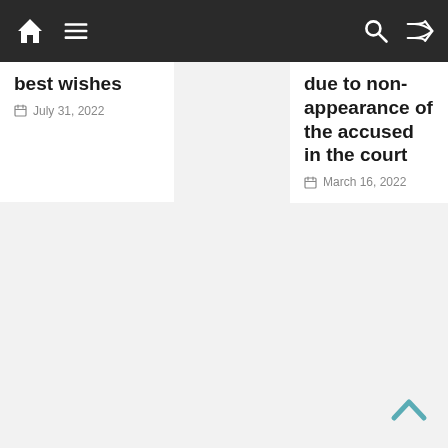Navigation bar with home, menu, search, and shuffle icons
best wishes
July 31, 2022
due to non-appearance of the accused in the court
March 16, 2022